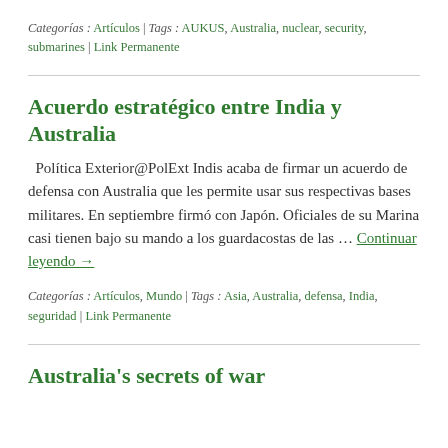Categorías : Artículos | Tags : AUKUS, Australia, nuclear, security, submarines | Link Permanente
Acuerdo estratégico entre India y Australia
Política Exterior@PolExt Indis acaba de firmar un acuerdo de defensa con Australia que les permite usar sus respectivas bases militares. En septiembre firmó con Japón. Oficiales de su Marina casi tienen bajo su mando a los guardacostas de las … Continuar leyendo →
Categorías : Artículos, Mundo | Tags : Asia, Australia, defensa, India, seguridad | Link Permanente
Australia's secrets of war